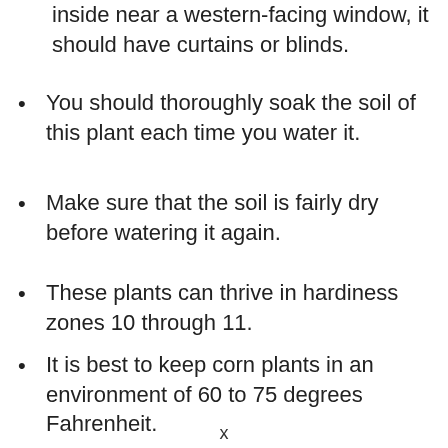inside near a western-facing window, it should have curtains or blinds.
You should thoroughly soak the soil of this plant each time you water it.
Make sure that the soil is fairly dry before watering it again.
These plants can thrive in hardiness zones 10 through 11.
It is best to keep corn plants in an environment of 60 to 75 degrees Fahrenheit.
x